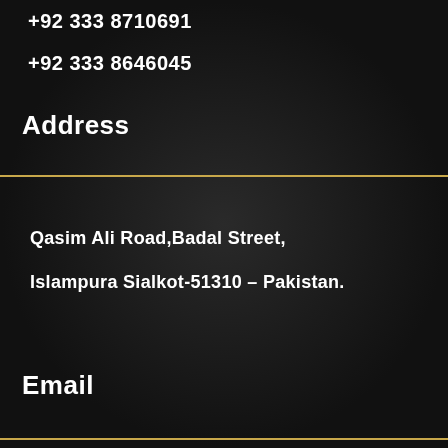+92 333 8710691
+92 333 8646045
Address
Qasim Ali Road,Badal Street,
Islampura Sialkot-51310 – Pakistan.
Email